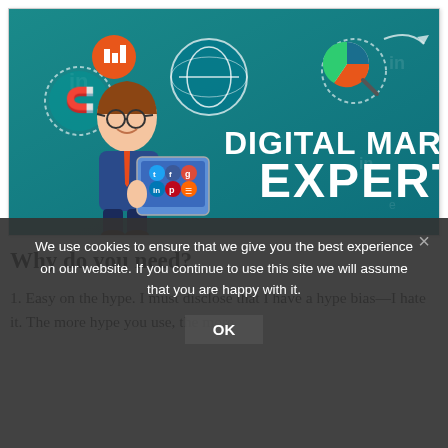[Figure (illustration): Digital Marketing Expert banner image showing a cartoon man with glasses holding a tablet with social media icons, surrounded by marketing icons (globe, chart, magnifying glass with pie chart, magnet) on a teal background with the text 'DIGITAL MARKETING EXPERT' in large bold white letters.]
[Figure (screenshot): Cookie consent overlay popup: dark semi-transparent background with white text reading 'We use cookies to ensure that we give you the best experience on our website. If you continue to use this site we will assume that you are happy with it.' with an OK button and X close button.]
Why do you need?
1. Easy on the hype. I must disclose that I have a hype bias—I hate it. The more hype you use, the more